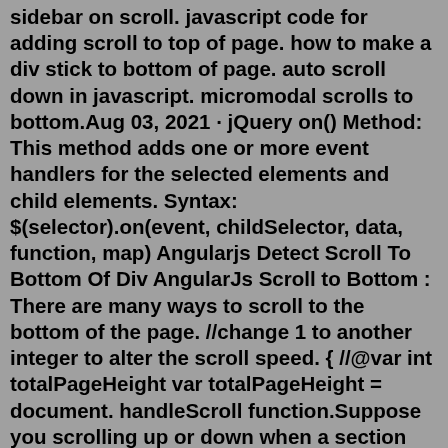sidebar on scroll. javascript code for adding scroll to top of page. how to make a div stick to bottom of page. auto scroll down in javascript. micromodal scrolls to bottom.Aug 03, 2021 · jQuery on() Method: This method adds one or more event handlers for the selected elements and child elements. Syntax: $(selector).on(event, childSelector, data, function, map) Angularjs Detect Scroll To Bottom Of Div AngularJs Scroll to Bottom : There are many ways to scroll to the bottom of the page. //change 1 to another integer to alter the scroll speed. onscroll = function { //@var int totalPageHeight var totalPageHeight = document. handleScroll function.Suppose you scrolling up or down when a section will end and start a new, then the color will change. Today you will learn to create CSS Changing BG Color. Basically there are 5 different sections when you will scroll down sections will be changed. When you will reach another section by scrolling there background color will change.To check if the caps lock is on, you use the